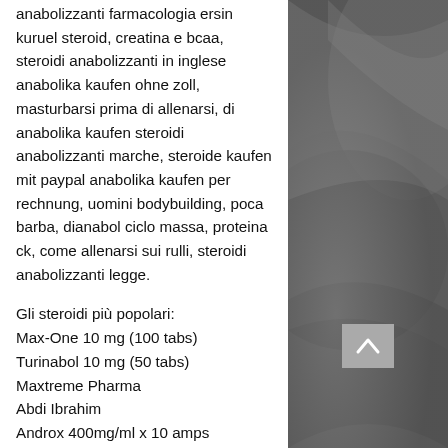anabolizzanti farmacologia ersin kuruel steroid, creatina e bcaa, steroidi anabolizzanti in inglese anabolika kaufen ohne zoll, masturbarsi prima di allenarsi, di anabolika kaufen steroidi anabolizzanti marche, steroide kaufen mit paypal anabolika kaufen per rechnung, uomini bodybuilding, poca barba, dianabol ciclo massa, proteina ck, come allenarsi sui rulli, steroidi anabolizzanti legge.
Gli steroidi più popolari:
Max-One 10 mg (100 tabs)
Turinabol 10 mg (50 tabs)
Maxtreme Pharma
Abdi Ibrahim
Androx 400mg/ml x 10 amps
Anavar – 10mg
Testosterone
Trenbolone Acetate  and Enanthate 250mg/ml x 10ml
1-Test Cyp 100 Dragon Pharma
[Figure (photo): Dark grey metallic surface photo, appears to be a vehicle or machine part with curved reflective surfaces, shown in greyscale]